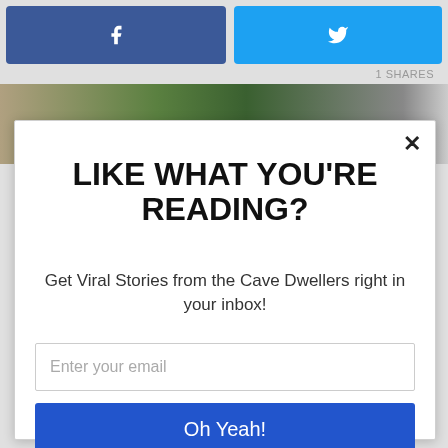[Figure (screenshot): Facebook share button (blue) and Twitter share button (light blue) side by side at top of page]
1 SHARES
[Figure (photo): Partial photo showing green bins and a person in a gray shirt, cropped to a strip]
LIKE WHAT YOU'RE READING?
Get Viral Stories from the Cave Dwellers right in your inbox!
Enter your email
Oh Yeah!
powered by MailMunch